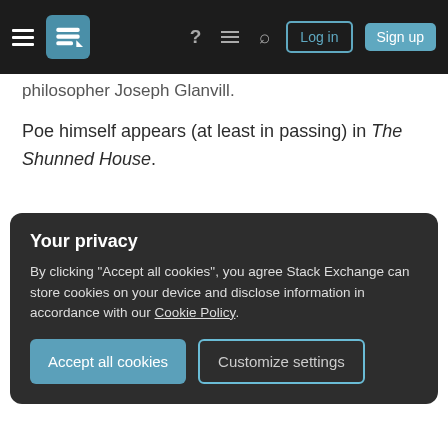Stack Exchange navigation bar with hamburger menu, logo, help, chat, search, Log in, Sign up
philosopher Joseph Glanvill.
Poe himself appears (at least in passing) in The Shunned House.
Virgil
The Aeneid is twice referenced in The Tomb. First, it provides the introductory quote: "Sedibus ut saltem placidis in morte quiescam." (J. W. Mackail's English prose translation renders this as "...that at least in death I may find a quiet resting-place.") This line is
Your privacy
By clicking "Accept all cookies", you agree Stack Exchange can store cookies on your device and disclose information in accordance with our Cookie Policy.
Accept all cookies   Customize settings